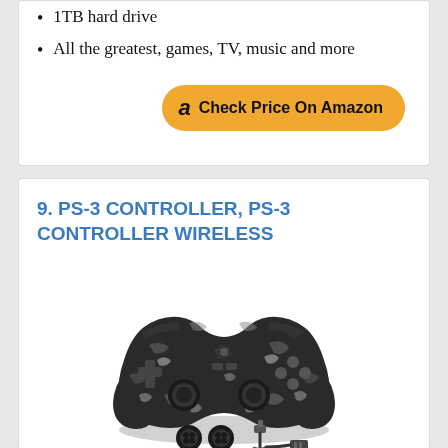1TB hard drive
All the greatest, games, TV, music and more
[Figure (other): Amazon 'Check Price On Amazon' button with Amazon logo]
9. PS-3 CONTROLLER, PS-3 CONTROLLER WIRELESS
[Figure (photo): PS-3 wireless controller with camouflage pattern, shown with two thumbstick attachments and a USB charging cable below it]